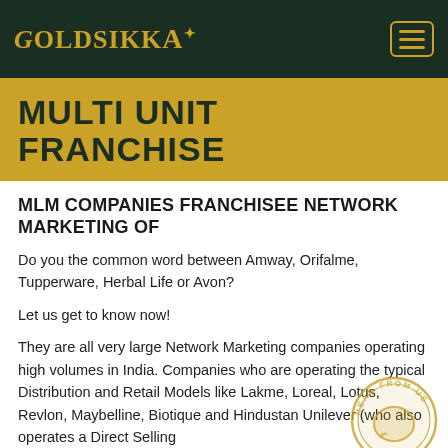GOLDSIKKA
MULTI UNIT FRANCHISE
MLM COMPANIES FRANCHISEE NETWORK MARKETING OF
Do you the common word between Amway, Orifalme, Tupperware, Herbal Life or Avon?
Let us get to know now!
They are all very large Network Marketing companies operating high volumes in India. Companies who are operating the typical Distribution and Retail Models like Lakme, Loreal, Lotus, Revlon, Maybelline, Biotique and Hindustan Unilever (who also operates a Direct Selling